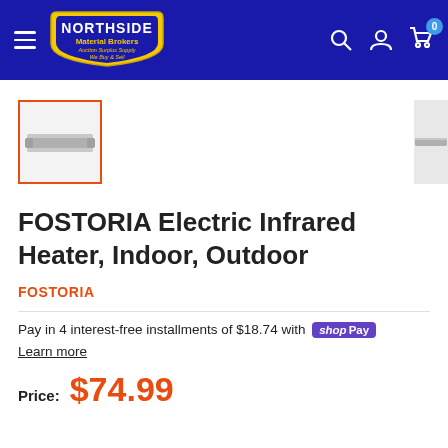[Figure (logo): Northside Material Brokers logo — yellow shield shape with dark blue text 'NORTHSIDE Material Brokers' and red tagline]
[Figure (photo): Thumbnail of FOSTORIA Electric Infrared Heater product, selected with orange border]
[Figure (photo): Partial right-side thumbnail of second product image, peeking from edge]
FOSTORIA Electric Infrared Heater, Indoor, Outdoor
FOSTORIA
Pay in 4 interest-free installments of $18.74 with Shop Pay
Learn more
Price: $74.99